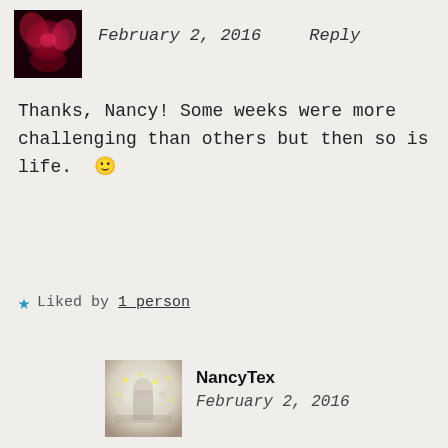[Figure (photo): Small square avatar with a dark red/pink floral image, top-left comment area]
February 2, 2016   Reply
Thanks, Nancy! Some weeks were more challenging than others but then so is life. 🙂
★ Liked by 1 person
[Figure (photo): Square avatar with a bright/light bokeh photo, NancyTex nested comment]
NancyTex
February 2, 2016
Indeed.
★ Liked by 1 person